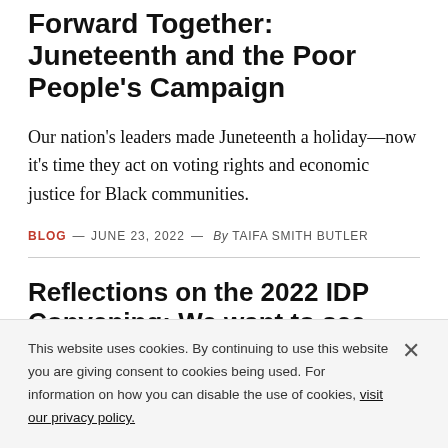Forward Together: Juneteenth and the Poor People's Campaign
Our nation's leaders made Juneteenth a holiday—now it's time they act on voting rights and economic justice for Black communities.
BLOG — JUNE 23, 2022 — By TAIFA SMITH BUTLER
Reflections on the 2022 IDP Convening: We want to see change in
This website uses cookies. By continuing to use this website you are giving consent to cookies being used. For information on how you can disable the use of cookies, visit our privacy policy.